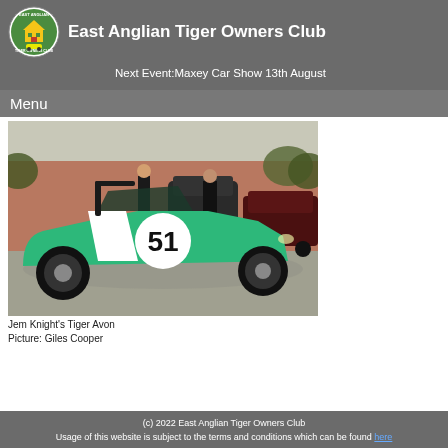East Anglian Tiger Owners Club
Next Event:Maxey Car Show 13th August
Menu
[Figure (photo): Green Tiger Avon sports car with number 51, parked in a car park with other vehicles and people in the background.]
Jem Knight's Tiger Avon
Picture: Giles Cooper
(c) 2022 East Anglian Tiger Owners Club
Usage of this website is subject to the terms and conditions which can be found here